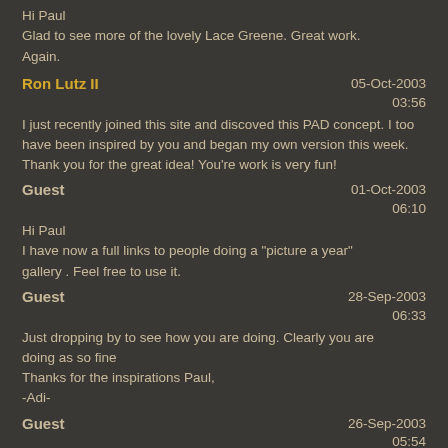Hi Paul
Glad to see more of the lovely Lace Greene. Great work. Again.
Ron Lutz II
05-Oct-2003
03:56
I just recently joined this site and discoved this PAD concept. I too have been inspired by you and began my own version this week. Thank you for the great idea! You're work is very fun!
Guest
01-Oct-2003
06:10
Hi Paul
I have now a full links to people doing a "picture a year" gallery . Feel free to use it.
Guest
28-Sep-2003
06:33
Just dropping by to see how you are doing. Clearly you are doing as so fine
Thanks for the inspirations Paul,
-Adi-
Guest
26-Sep-2003
05:54
Some great stuff, Paul, and such a variety of subjects. Really fine.
22-Sep-2003